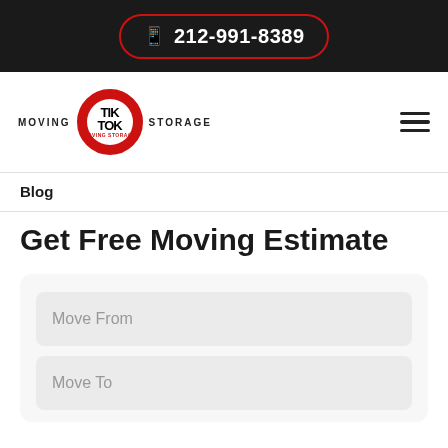📱 212-991-8389
[Figure (logo): TikTok Moving & Storage logo — red circle with TIK TOK text, flanked by MOVING and STORAGE text]
Blog
Get Free Moving Estimate
Move From
Move To